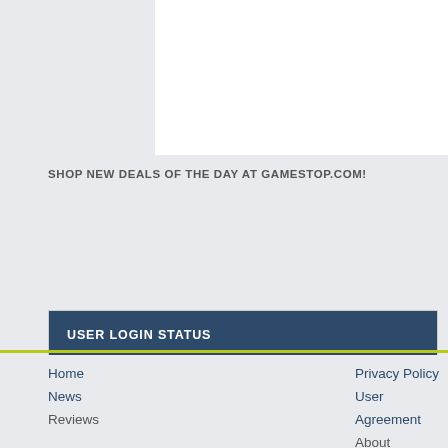[Figure (other): White advertisement box (placeholder)]
SHOP NEW DEALS OF THE DAY AT GAMESTOP.COM!
USER LOGIN STATUS
Log in
Register
Lost password?
Home  Privacy Policy  Support PC Perspective on Patreon!
News  User Agreement
Reviews  About